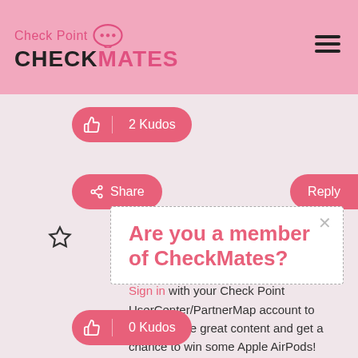Check Point CheckMates
[Figure (screenshot): CheckMates community platform header with pink background, logo with chat bubble icon, and hamburger menu]
[Figure (other): Pink kudos button showing thumbs up icon and '2 Kudos' label]
[Figure (other): Pink Share and Reply buttons]
[Figure (other): Star/bookmark icon outline]
Are you a member of CheckMates? Sign in with your Check Point UserCenter/PartnerMap account to access more great content and get a chance to win some Apple AirPods! If you don't have an account, create one now for free!
[Figure (other): Pink kudos button showing thumbs up icon and '0 Kudos' label]